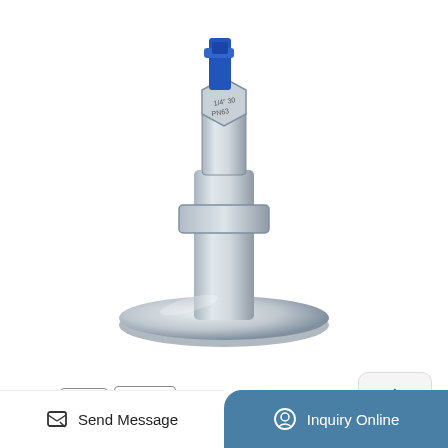[Figure (photo): Industrial valve/fitting product photo — a stainless steel tri-clamp fitting with a blue actuator/handle on top, mounted on a polished stainless disc base. Labels on the fitting include '1/4" 30' and 'PN63'.]
[Figure (logo): CE certification mark badge]
[Figure (logo): ISO certification mark badge]
How To Make Shatter Out Of Your Trim Cannabismo
Sep 10, 2019 To make shatter out of your trim, you will need: 1 oz. dried cannabis trim. Butane canisters. Extraction tube. A stove or a double broiler. A dish for collecting the concentrate. A concentrate container or silicone parchment paper.
Send Message  |  Inquiry Online